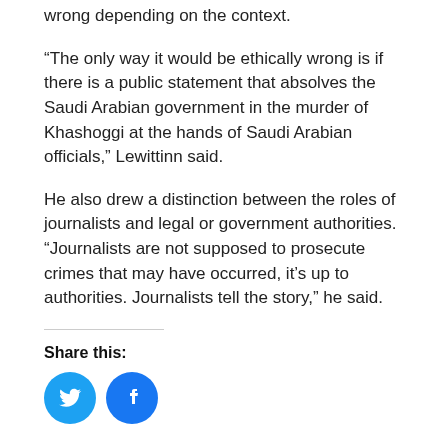wrong depending on the context.
“The only way it would be ethically wrong is if there is a public statement that absolves the Saudi Arabian government in the murder of Khashoggi at the hands of Saudi Arabian officials,” Lewittinn said.
He also drew a distinction between the roles of journalists and legal or government authorities. “Journalists are not supposed to prosecute crimes that may have occurred, it’s up to authorities. Journalists tell the story,” he said.
Share this:
[Figure (other): Twitter and Facebook social share buttons]
Related